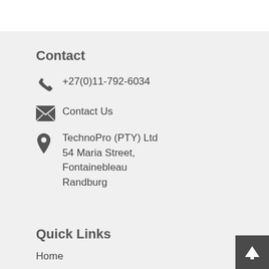Contact
+27(0)11-792-6034
Contact Us
TechnoPro (PTY) Ltd
54 Maria Street,
Fontainebleau
Randburg
Quick Links
Home